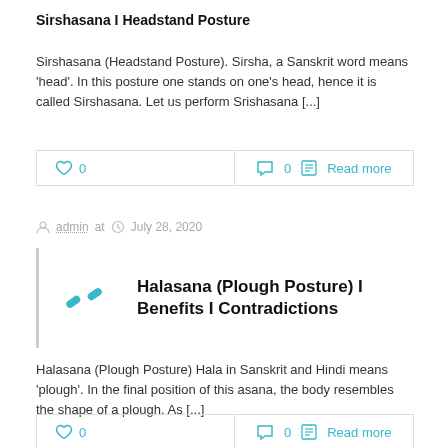Sirshasana I Headstand Posture
Sirshasana (Headstand Posture). Sirsha, a Sanskrit word means ‘head’. In this posture one stands on one’s head, hence it is called Sirshasana. Let us perform Srishasana […]
❤ 0   💬 0  📄 Read more
👤 admin at ⌚ July 28, 2020
Halasana (Plough Posture) I Benefits I Contradictions
Halasana (Plough Posture) Hala in Sanskrit and Hindi means ‘plough’. In the final position of this asana, the body resembles the shape of a plough. As […]
❤ 0   💬 0  📄 Read more